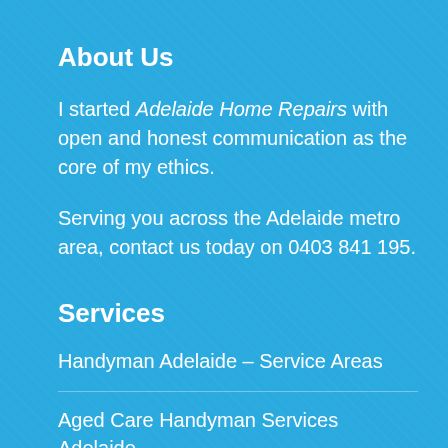About Us
I started Adelaide Home Repairs with open and honest communication as the core of my ethics.
Serving you across the Adelaide metro area, contact us today on 0403 841 195.
Services
Handyman Adelaide – Service Areas
Aged Care Handyman Services Adelaide
Flyscreen Repairs Adelaide